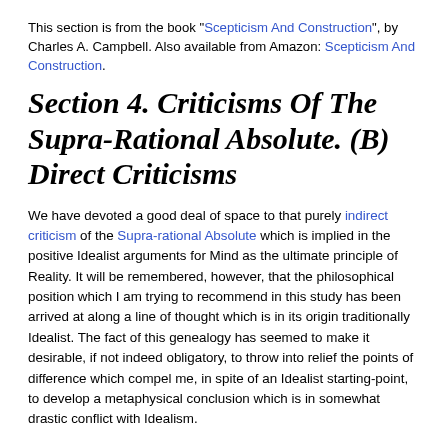This section is from the book "Scepticism And Construction", by Charles A. Campbell. Also available from Amazon: Scepticism And Construction.
Section 4. Criticisms Of The Supra-Rational Absolute. (B) Direct Criticisms
We have devoted a good deal of space to that purely indirect criticism of the Supra-rational Absolute which is implied in the positive Idealist arguments for Mind as the ultimate principle of Reality. It will be remembered, however, that the philosophical position which I am trying to recommend in this study has been arrived at along a line of thought which is in its origin traditionally Idealist. The fact of this genealogy has seemed to make it desirable, if not indeed obligatory, to throw into relief the points of difference which compel me, in spite of an Idealist starting-point, to develop a metaphysical conclusion which is in somewhat drastic conflict with Idealism.